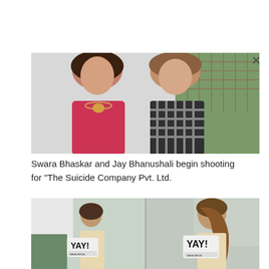[Figure (photo): Two people standing together — a woman in a red top with a statement necklace and a person in a black and white plaid shirt, outdoors near a fence with greenery.]
Swara Bhaskar and Jay Bhanushali begin shooting for "The Suicide Company Pvt. Ltd.
[Figure (photo): Two photos side by side of a woman in a cream dress holding a YAY! branded award plaque that reads 'Sania Mirza', photographed outdoors on a balcony.]